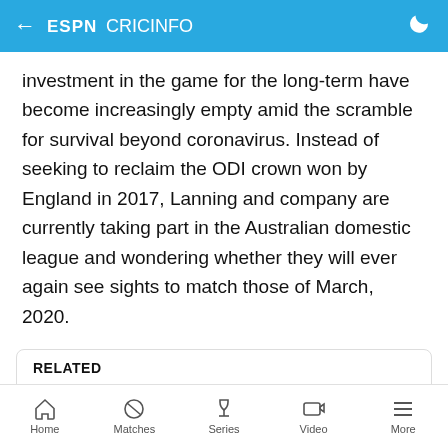ESPN cricinfo
investment in the game for the long-term have become increasingly empty amid the scramble for survival beyond coronavirus. Instead of seeking to reclaim the ODI crown won by England in 2017, Lanning and company are currently taking part in the Australian domestic league and wondering whether they will ever again see sights to match those of March, 2020.
RELATED
'To see the queues and know they were there for us, it almost brought a tear to my eye'
Home  Matches  Series  Video  More